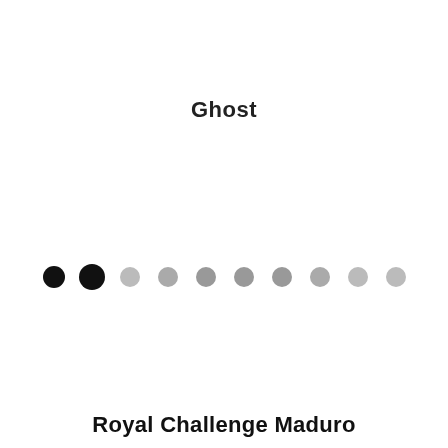Ghost
[Figure (other): A row of 10 dots: the first dot is solid black (smaller), the second is solid black (larger), and the remaining 8 dots are in varying shades of gray, indicating a rating or pagination indicator.]
Royal Challenge Maduro